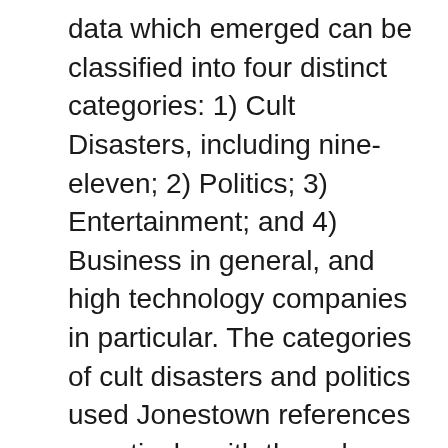data which emerged can be classified into four distinct categories: 1) Cult Disasters, including nine-eleven; 2) Politics; 3) Entertainment; and 4) Business in general, and high technology companies in particular. The categories of cult disasters and politics used Jonestown references negatively, with the sole exception being gangs or gang members calling themselves Kool-Aid. [ix] The entertainment and business worlds, however, used the references both negatively and positively. This would indicate that cult disasters and politics maintain some, though tenuous, connection with the original historical referent; while business and entertainment uses reveal dissociation and amnesia.